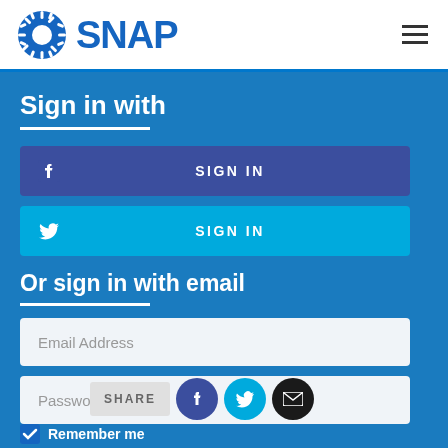SNAP
Sign in with
SIGN IN (Facebook)
SIGN IN (Twitter)
Or sign in with email
Email Address
Password
SHARE
Remember me